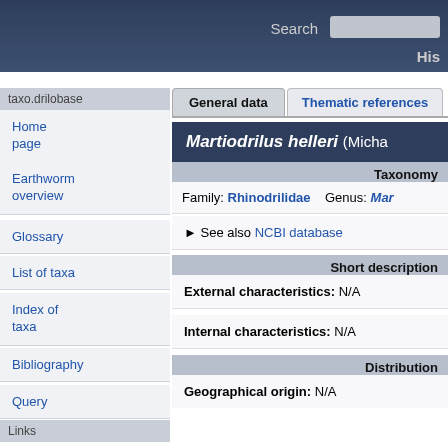Search  His
taxo.drilobase
General data
Thematic references
Martiodrilus helleri (Micha...)
Taxonomy
Family: Rhinodrilidae   Genus: Mar...
► See also NCBI database
Short description
External characteristics: N/A
Internal characteristics: N/A
Distribution
Geographical origin: N/A
Home page
Earthworm overview
Glossary
List of taxa
Index of taxa
Bibliography
Query
Links